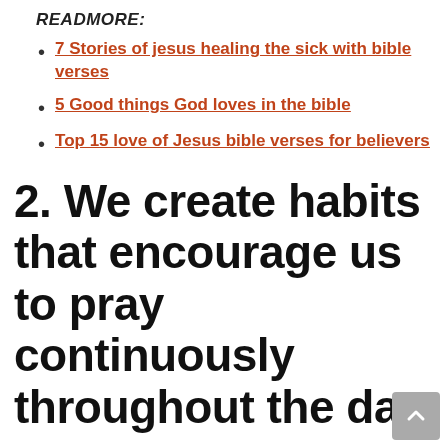READMORE:
7 Stories of jesus healing the sick with bible verses
5 Good things God loves in the bible
Top 15 love of Jesus bible verses for believers
2. We create habits that encourage us to pray continuously throughout the day.